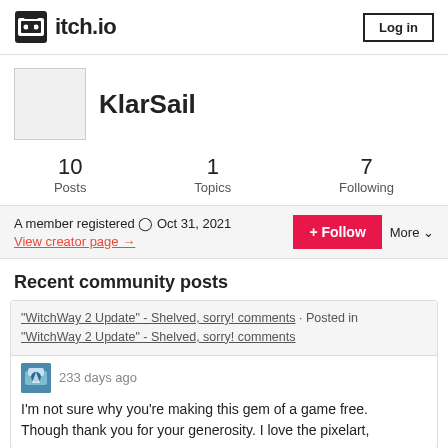itch.io  Log in
KlarSail
10 Posts  1 Topics  7 Following
A member registered Oct 31, 2021  View creator page →  + Follow  More
Recent community posts
"WitchWay 2 Update" - Shelved, sorry! comments · Posted in "WitchWay 2 Update" - Shelved, sorry! comments
233 days ago
I'm not sure why you're making this gem of a game free. Though thank you for your generosity. I love the pixelart,